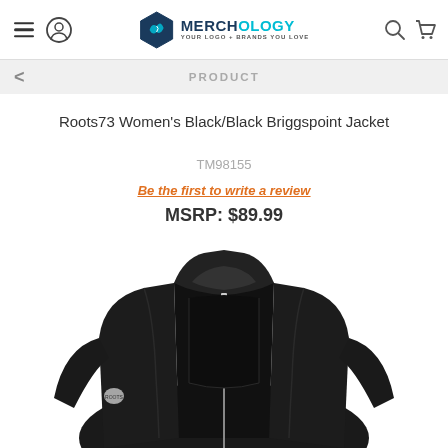Merchology — Your Logo + Brands You Love (navigation header)
< PRODUCT
Roots73 Women's Black/Black Briggspoint Jacket
TM98155
Be the first to write a review
MSRP: $89.99
[Figure (photo): Close-up photo of a black Roots73 women's zip-up jacket with a stand collar, front zipper, and small logo on the lower left arm, displayed on a white background.]